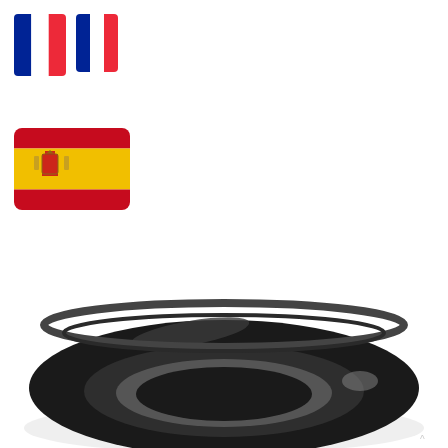[Figure (illustration): French flag (blue, white, red vertical stripes) and a smaller similar flag side by side at the top left]
[Figure (illustration): Spanish flag (red, yellow, red horizontal stripes with coat of arms) below the French flags]
EPDM gasket for use in fittings and clamps, also manufactured in silicone.
[Figure (photo): Black EPDM circular gasket/seal ring photographed from above on white background]